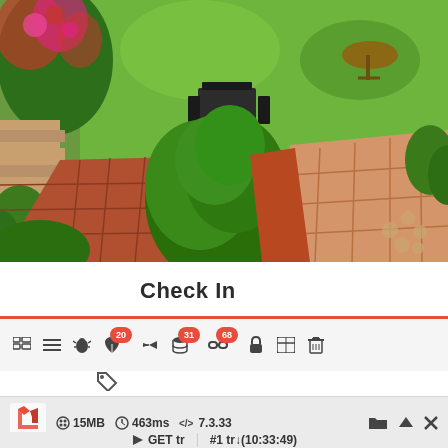[Figure (photo): Aerial/overhead view of a garden courtyard with green lawn, red brick paving, flowering pink shrubs, and outdoor furniture (table and chairs). Lush vegetation including a large shrub/small tree in the center.]
Check In
[Figure (screenshot): Web developer toolbar/debugbar showing icons with notification badges: 20, 31, 68. Icons include grid, list, bug, leaf, share, database, settings/links. A tag icon below. Status bar showing Laravel logo, 15MB memory, 463ms time, PHP 7.3.33 version, GET tr request, #1 tr (10:33:49), and action icons for folder, upload, close.]